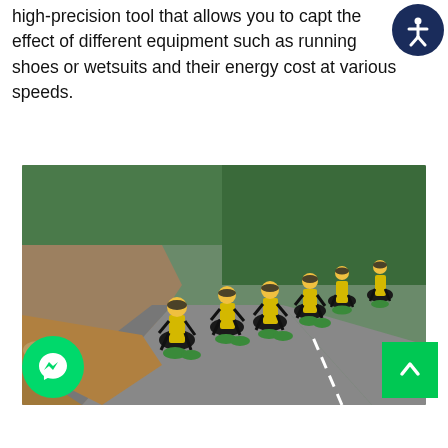high-precision tool that allows you to capture the effect of different equipment such as running shoes or wetsuits and their energy cost at various speeds.
[Figure (photo): Group of cyclists in yellow and black jerseys riding road bikes on a mountain road with rocky cliffs and green trees in the background.]